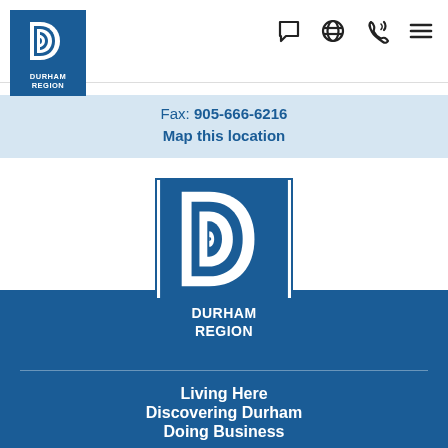[Figure (logo): Durham Region logo - small, in header top left]
[Figure (infographic): Navigation icons: chat bubble, globe, phone, hamburger menu]
Fax: 905-666-6216
Map this location
[Figure (logo): Durham Region large centered logo with white D symbol on blue background]
Living Here
Discovering Durham
Doing Business